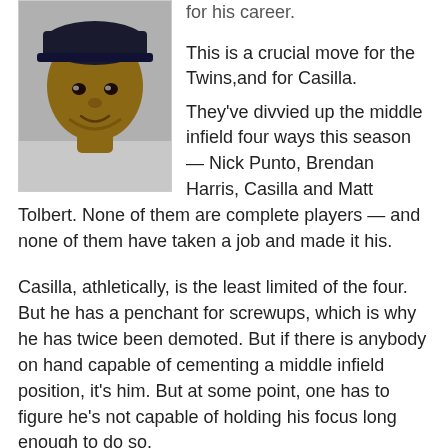[Figure (photo): Headshot photo of a man (Casilla) wearing a dark cap, smiling slightly, against a light background.]
for his career.
This is a crucial move for the Twins,and for Casilla.
They've divvied up the middle infield four ways this season — Nick Punto, Brendan Harris, Casilla and Matt Tolbert. None of them are complete players — and none of them have taken a job and made it his.
Casilla, athletically, is the least limited of the four. But he has a penchant for screwups, which is why he has twice been demoted. But if there is anybody on hand capable of cementing a middle infield position, it's him. But at some point, one has to figure he's not capable of holding his focus long enough to do so.
The Star Tribune story on the move takes note of Casilla's .340 batting average in Rochester and the .191 batting average of the Twins No.2 hitters other than Joe Mauer.
The No.2 hitters are also called Matt Mauer, the No.2...